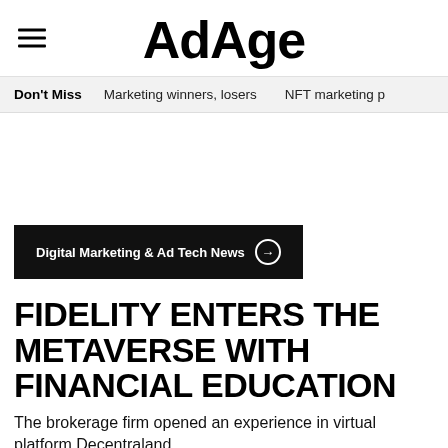AdAge
Don't Miss   Marketing winners, losers   NFT marketing p
Digital Marketing & Ad Tech News →
FIDELITY ENTERS THE METAVERSE WITH FINANCIAL EDUCATION
The brokerage firm opened an experience in virtual platform Decentraland